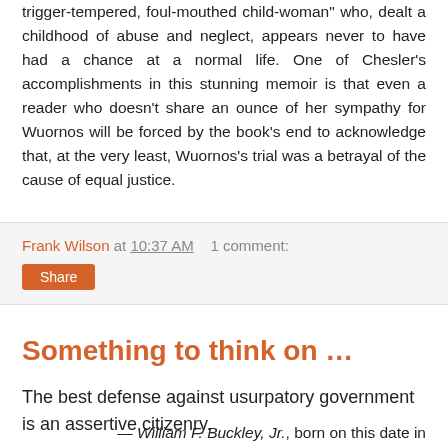trigger-tempered, foul-mouthed child-woman" who, dealt a childhood of abuse and neglect, appears never to have had a chance at a normal life. One of Chesler's accomplishments in this stunning memoir is that even a reader who doesn't share an ounce of her sympathy for Wuornos will be forced by the book's end to acknowledge that, at the very least, Wuornos's trial was a betrayal of the cause of equal justice.
Frank Wilson at 10:37 AM   1 comment:
Share
Something to think on …
The best defense against usurpatory government is an assertive citizenry.
— William F. Buckley, Jr., born on this date in 1925